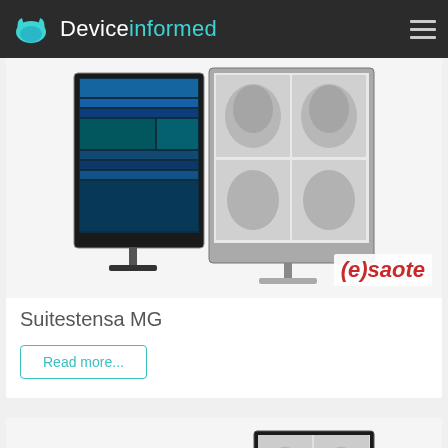Deviceinformed
[Figure (photo): Two medical imaging monitors displaying mammography software and breast scan images, with Esaote logo in the corner]
Suitestensa MG
Read more...
[Figure (photo): Three medical imaging monitors of different sizes displaying radiology/PACS software with scan images]